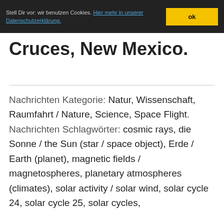Stell Dir vor: wir benutzen Cookies. Hier mehr in unserer Datenschutzerklärung. ok
Cruces, New Mexico.
Nachrichten Kategorie: Natur, Wissenschaft, Raumfahrt / Nature, Science, Space Flight. Nachrichten Schlagwörter: cosmic rays, die Sonne / the Sun (star / space object), Erde / Earth (planet), magnetic fields / magnetospheres, planetary atmospheres (climates), solar activity / solar wind, solar cycle 24, solar cycle 25, solar cycles,